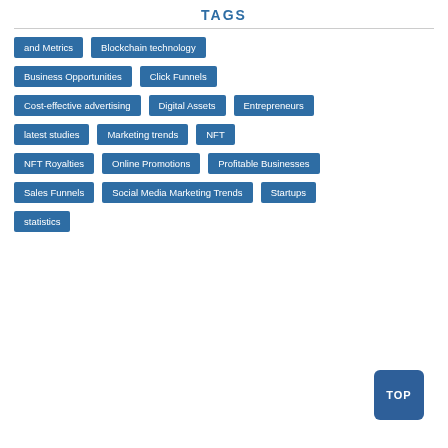TAGS
and Metrics
Blockchain technology
Business Opportunities
Click Funnels
Cost-effective advertising
Digital Assets
Entrepreneurs
latest studies
Marketing trends
NFT
NFT Royalties
Online Promotions
Profitable Businesses
Sales Funnels
Social Media Marketing Trends
Startups
statistics
TOP